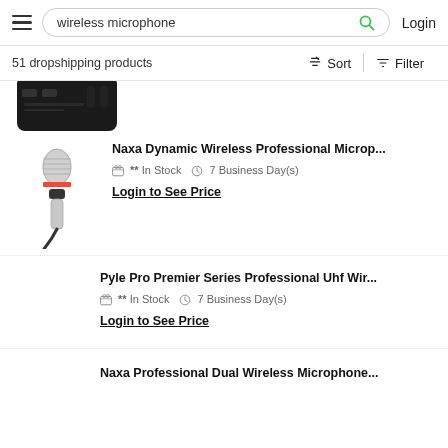wireless microphone — Login
51 dropshipping products
[Figure (screenshot): Partial product image — black wireless microphone receiver/transmitter unit, cropped at top]
Naxa Dynamic Wireless Professional Microp...
** In Stock  7 Business Day(s)
Login to See Price
[Figure (photo): Silver handheld wired/wireless microphone with black handle]
Pyle Pro Premier Series Professional Uhf Wir...
** In Stock  7 Business Day(s)
Login to See Price
Naxa Professional Dual Wireless Microphone...